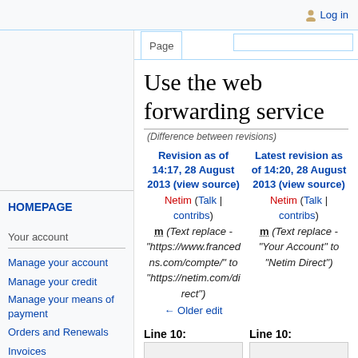Log in
Page
Use the web forwarding service
(Difference between revisions)
Revision as of 14:17, 28 August 2013 (view source)
Netim (Talk | contribs)
m (Text replace - "https://www.francedns.com/compte/" to "https://netim.com/direct")
Latest revision as of 14:20, 28 August 2013 (view source)
Netim (Talk | contribs)
m (Text replace - "Your Account" to "Netim Direct")
← Older edit
Line 10:
Line 10:
HOMEPAGE
Your account
Manage your account
Manage your credit
Manage your means of payment
Orders and Renewals
Invoices
Watching out for Phishing
Domain names